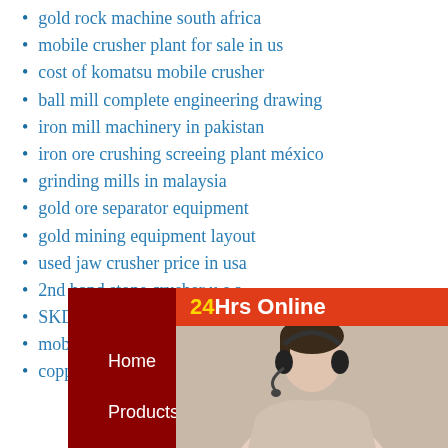gold rock machine south africa
mobile crusher plant for sale in us
cost of komatsu mobile crusher
ball mill complete engineering drawing
iron mill machinery in pakistan
iron ore crushing screeing plant méxico
grinding mills in malaysia
gold ore separator equipment
gold mining equipment layout
used jaw crusher price in usa
2nd hand stone crusher u s a
SKD vertical shaft impact crusher
mobile gold washing plant in ethiopia
copper ore leaching equipment
24Hrs Online
Home   About Us   Products   Contact Us